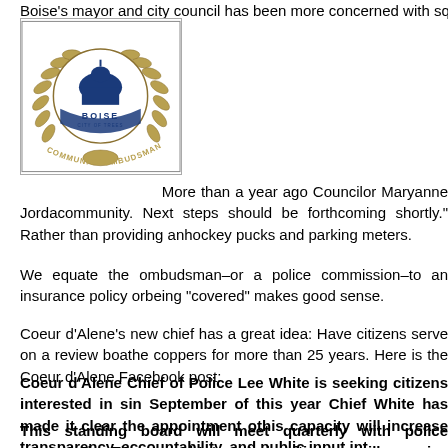Boise's mayor and city council has been more concerned with squeezing 10 foot...
[Figure (logo): Boise City of Trees Community Ombudsman official seal/logo with gold laurel wreath surrounding a blue dome capitol building and the text BOISE CITY OF TREES, COMMUNITY OMBUDSMAN]
More than a year ago Councilor Maryanne Jorda... community. Next steps should be forthcoming shortly." Rather than providing an... hockey pucks and parking meters.
We equate the ombudsman–or a police commission–to an insurance policy or... being "covered" makes good sense.
Coeur d'Alene's new chief has a great idea: Have citizens serve on a review boa... the coppers for more than 25 years. Here is the Coeur d'Alene Facebook post:
Coeur d'Alene Chief of Police Lee White is seeking citizens interested in s... in September of this year Chief White has made it clear the appointment o... this capacity will increase transparency, accountability, and public input int...
This standing board will meet quarterly with police personnel. The memb... Interested citizens will receive information on basic law enforcement traini...